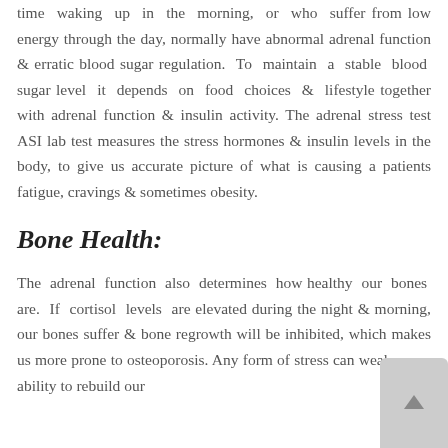time waking up in the morning, or who suffer from low energy through the day, normally have abnormal adrenal function & erratic blood sugar regulation. To maintain a stable blood sugar level it depends on food choices & lifestyle together with adrenal function & insulin activity. The adrenal stress test ASI lab test measures the stress hormones & insulin levels in the body, to give us accurate picture of what is causing a patients fatigue, cravings & sometimes obesity.
Bone Health:
The adrenal function also determines how healthy our bones are. If cortisol levels are elevated during the night & morning, our bones suffer & bone regrowth will be inhibited, which makes us more prone to osteoporosis. Any form of stress can weaken our ability to rebuild our